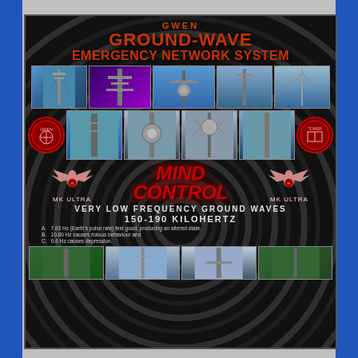GWEN GROUND-WAVE EMERGENCY NETWORK SYSTEM
[Figure (photo): Grid of photos showing various cell towers and antenna structures, two rows]
[Figure (infographic): Mind Control infographic with eagle/MK ULTRA badges, spiral background, text about VERY LOW FREQUENCY GROUND WAVES 150-190 KILOHERTZ]
A. 7.83 Hz (Earth's pulse rate) feel good, producing an altered-state.
B. 10.80 Hz causes riotous behaviour and
C. 6.6 Hz causes depression.
[Figure (photo): Bottom row of tower photos]